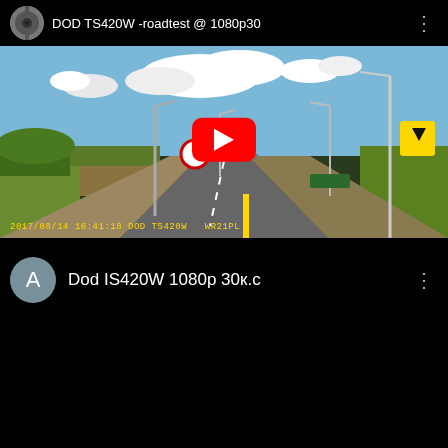[Figure (screenshot): YouTube video card showing 'DOD TS420W -roadtest @ 1080p30' with a dashcam road scene thumbnail. Road with lamp posts, blue sky with clouds, green grass, yellow warning sign. Red YouTube play button overlay. Timestamp '2017/08/14 16:41:18 DOD TS420W WR21PL' in yellow at bottom left.]
[Figure (screenshot): Second YouTube video card showing 'Dod IS420W 1080p 30к.с' with black thumbnail, user avatar 'A' in grey circle, three-dot menu icon.]